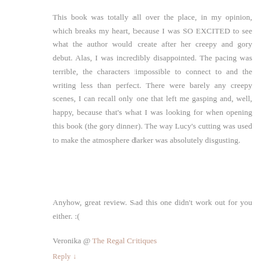This book was totally all over the place, in my opinion, which breaks my heart, because I was SO EXCITED to see what the author would create after her creepy and gory debut. Alas, I was incredibly disappointed. The pacing was terrible, the characters impossible to connect to and the writing less than perfect. There were barely any creepy scenes, I can recall only one that left me gasping and, well, happy, because that's what I was looking for when opening this book (the gory dinner). The way Lucy's cutting was used to make the atmosphere darker was absolutely disgusting.
Anyhow, great review. Sad this one didn't work out for you either. :(
Veronika @ The Regal Critiques
Reply ↓